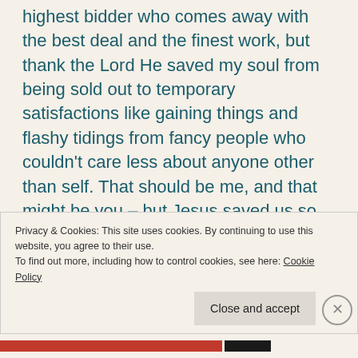highest bidder who comes away with the best deal and the finest work, but thank the Lord He saved my soul from being sold out to temporary satisfactions like gaining things and flashy tidings from fancy people who couldn't care less about anyone other than self. That should be me, and that might be you – but Jesus saved us so that we could leave a legacy of love and sign His name on our grave, forever enjoying Heaven up above. While we're here on earth living out the dash, I want to live out my day-to-day tasks
Privacy & Cookies: This site uses cookies. By continuing to use this website, you agree to their use.
To find out more, including how to control cookies, see here: Cookie Policy
Close and accept